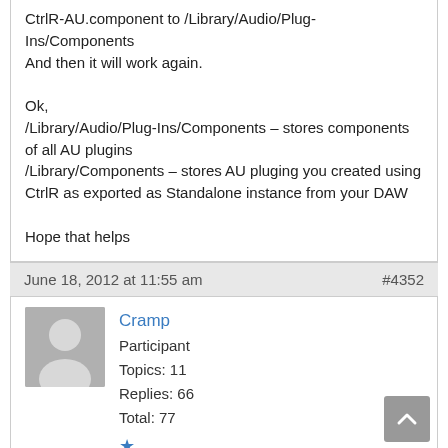CtrlR-AU.component to /Library/Audio/Plug-Ins/Components
And then it will work again.

Ok,
/Library/Audio/Plug-Ins/Components – stores components of all AU plugins
/Library/Components – stores AU pluging you created using CtrlR as exported as Standalone instance from your DAW

Hope that helps
June 18, 2012 at 11:55 am   #4352
Cramp
Participant
Topics: 11
Replies: 66
Total: 77
★
"atom":cln4l7lo wrote:
Don't worry about the version difference it's a SVN thing, it's ok it always will be one